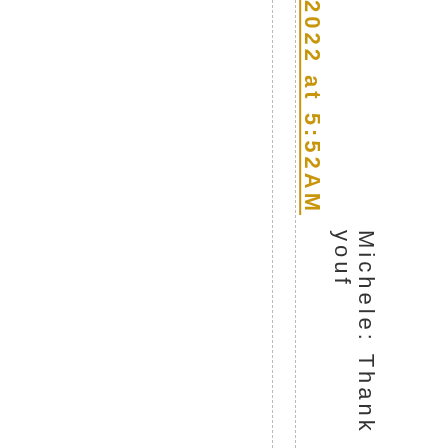2022 at 5:52AM
Michele: Thank youf